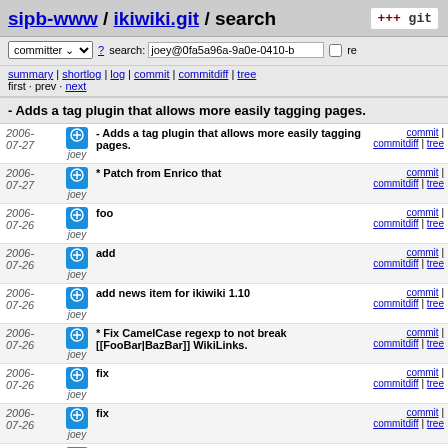sipb-www / ikiwiki.git / search
committer search: joey@0fa5a96a-9a0e-0410-b... re
summary | shortlog | log | commit | commitdiff | tree
first · prev · next
- Adds a tag plugin that allows more easily tagging pages.
| Date | Author | Message | Links |
| --- | --- | --- | --- |
| 2006-07-27 | joey | - Adds a tag plugin that allows more easily tagging pages. | commit | commitdiff | tree |
| 2006-07-27 | joey | * Patch from Enrico that | commit | commitdiff | tree |
| 2006-07-26 | joey | foo | commit | commitdiff | tree |
| 2006-07-26 | joey | add | commit | commitdiff | tree |
| 2006-07-26 | joey | add news item for ikiwiki 1.10 | commit | commitdiff | tree |
| 2006-07-26 | joey | * Fix CamelCase regexp to not break [[FooBar|BazBar]] WikiLinks. | commit | commitdiff | tree |
| 2006-07-26 | joey | fix | commit | commitdiff | tree |
| 2006-07-26 | joey | fix | commit | commitdiff | tree |
| 2006-... | joey | * Run page through any relevant... | commit | |